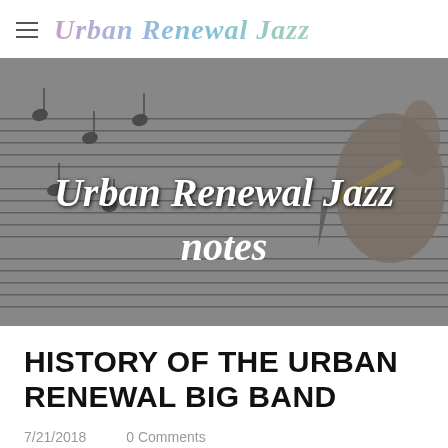Urban Renewal Jazz
[Figure (photo): Black and white photo of a hand writing on musical sheet music, with the overlay text 'Urban Renewal Jazz notes' in white italic script]
HISTORY OF THE URBAN RENEWAL BIG BAND
7/21/2018    0 Comments